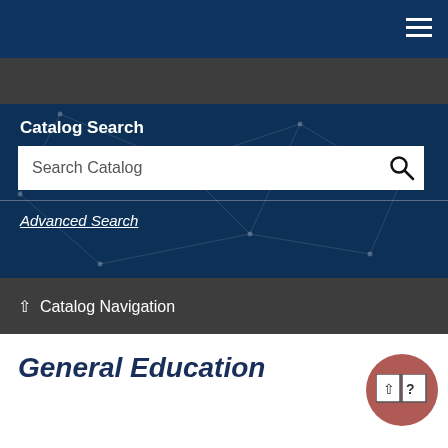Catalog Search
Search Catalog
Advanced Search
Catalog Navigation
General Education